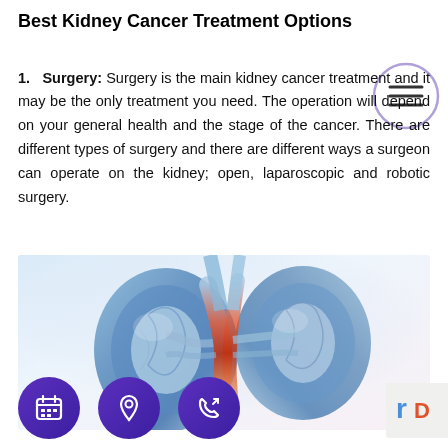Best Kidney Cancer Treatment Options
1. Surgery: Surgery is the main kidney cancer treatment and it may be the only treatment you need. The operation will depend on your general health and the stage of the cancer. There are different types of surgery and there are different ways a surgeon can operate on the kidney; open, laparoscopic and robotic surgery.
[Figure (illustration): Medical illustration of human kidneys showing cross-section anatomy with blue and red coloring highlighting internal structures and blood vessels]
[Figure (other): Three purple circular buttons at the bottom: calendar/appointment icon, location pin icon, and phone/call icon]